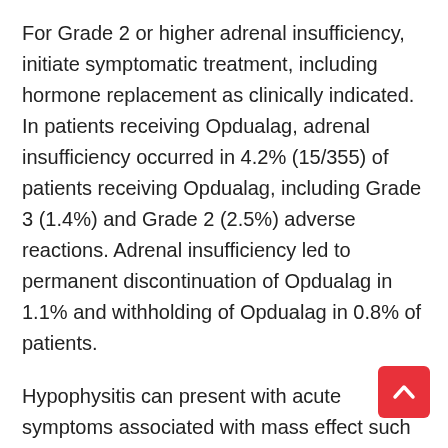For Grade 2 or higher adrenal insufficiency, initiate symptomatic treatment, including hormone replacement as clinically indicated. In patients receiving Opdualag, adrenal insufficiency occurred in 4.2% (15/355) of patients receiving Opdualag, including Grade 3 (1.4%) and Grade 2 (2.5%) adverse reactions. Adrenal insufficiency led to permanent discontinuation of Opdualag in 1.1% and withholding of Opdualag in 0.8% of patients.
Hypophysitis can present with acute symptoms associated with mass effect such as headache, photophobia, or visual field defects. Hypophysitis can cause hypopituitarism; initiate hormone replacement as clinically indicated. Hypophysitis occurred in 2.5% (9/355) of patients receiving Opdualag, including Grade